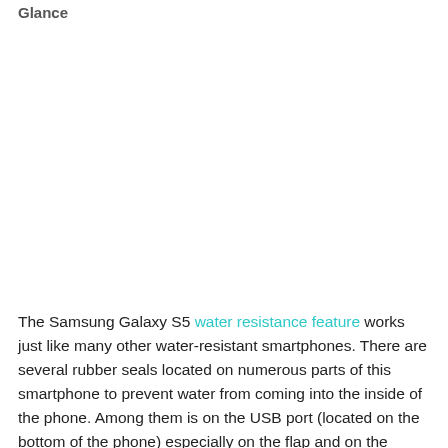Glance
The Samsung Galaxy S5 water resistance feature works just like many other water-resistant smartphones. There are several rubber seals located on numerous parts of this smartphone to prevent water from coming into the inside of the phone. Among them is on the USB port (located on the bottom of the phone) especially on the flap and on the plastic